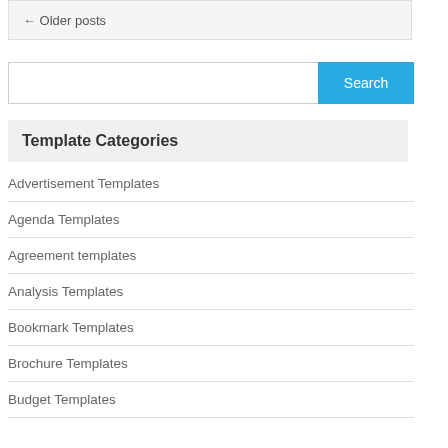← Older posts
Template Categories
Advertisement Templates
Agenda Templates
Agreement templates
Analysis Templates
Bookmark Templates
Brochure Templates
Budget Templates